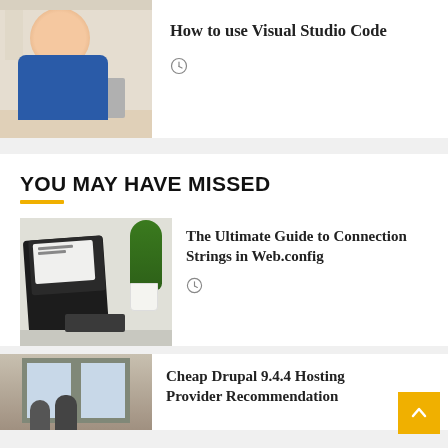[Figure (photo): Woman in blue shirt working at a laptop at a desk]
How to use Visual Studio Code
[Figure (illustration): Clock icon]
YOU MAY HAVE MISSED
[Figure (photo): Laptop on desk with potted green plant beside it]
The Ultimate Guide to Connection Strings in Web.config
[Figure (illustration): Clock icon]
[Figure (photo): Room interior with windows and people]
Cheap Drupal 9.4.4 Hosting Provider Recommendation